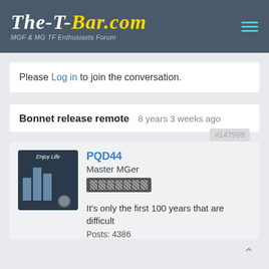The-T-Bar.com — MGF & MG TF Enthusiasts Forum
Please Log in to join the conversation.
Bonnet release remote   8 years 3 weeks ago   #147999
PQD44
Master MGer
It's only the first 100 years that are difficult
Posts: 4386